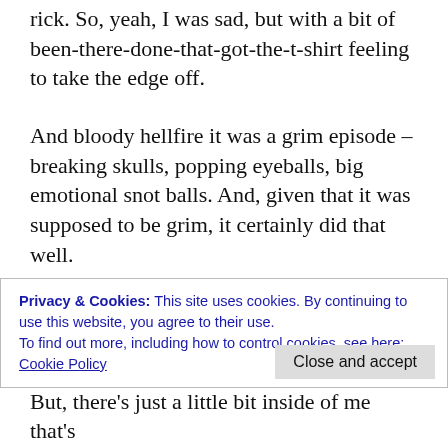rick. So, yeah, I was sad, but with a bit of been-there-done-that-got-the-t-shirt feeling to take the edge off.
And bloody hellfire it was a grim episode – breaking skulls, popping eyeballs, big emotional snot balls. And, given that it was supposed to be grim, it certainly did that well.
So, it did what it said on the tin – killed off some characters, showed us the bleakness of
Privacy & Cookies: This site uses cookies. By continuing to use this website, you agree to their use.
To find out more, including how to control cookies, see here: Cookie Policy
But, there's just a little bit inside of me that's